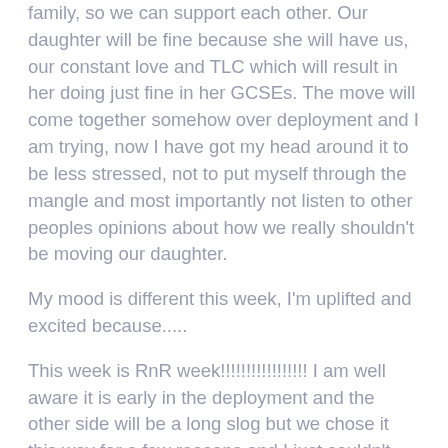family, so we can support each other. Our daughter will be fine because she will have us, our constant love and TLC which will result in her doing just fine in her GCSEs. The move will come together somehow over deployment and I am trying, now I have got my head around it to be less stressed, not to put myself through the mangle and most importantly not listen to other peoples opinions about how we really shouldn't be moving our daughter.
My mood is different this week, I'm uplifted and excited because.....
This week is RnR week!!!!!!!!!!!!!!!!! I am well aware it is early in the deployment and the other side will be a long slog but we chose it this way for a few reasons and I just couldn't BE more excited to see my husband especially with everything that has happened, it will be sooooooo welcome to have an actual full conversation without the line cutting out.
My husband messaged me his flight details asked me to collect him